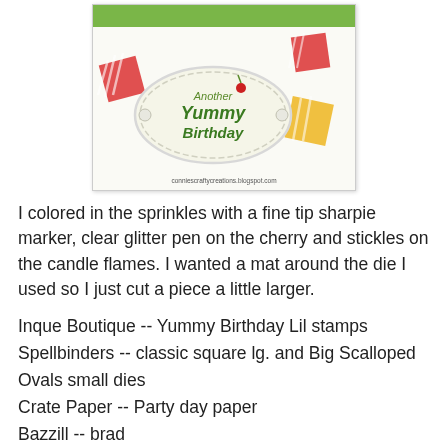[Figure (photo): A birthday card featuring 'Another Yummy Birthday' text in a scalloped oval label, with decorative cupcake/cake patterned paper, green border, and small sprinkle/cherry details. Watermark reads conniescraftycreations.blogspot.com]
I colored in the sprinkles with a fine tip sharpie marker, clear glitter pen on the cherry and stickles on the candle flames. I wanted a mat around the die I used so I just cut a piece a little larger.
Inque Boutique -- Yummy Birthday Lil stamps
Spellbinders -- classic square lg. and Big Scalloped Ovals small dies
Crate Paper -- Party day paper
Bazzill -- brad
It is another steamy one here today, woke up this morning with all the windows steamed up on the outside again.  We were just noticing the other day that by this time of year it is